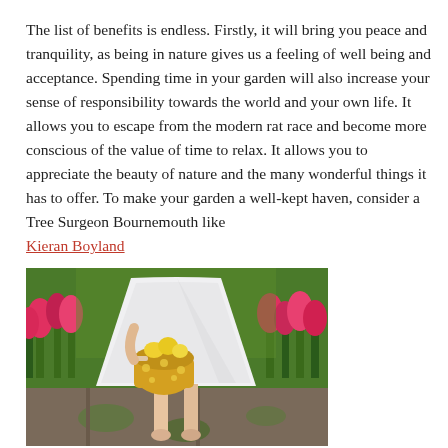The list of benefits is endless. Firstly, it will bring you peace and tranquility, as being in nature gives us a feeling of well being and acceptance. Spending time in your garden will also increase your sense of responsibility towards the world and your own life. It allows you to escape from the modern rat race and become more conscious of the value of time to relax. It allows you to appreciate the beauty of nature and the many wonderful things it has to offer. To make your garden a well-kept haven, consider a Tree Surgeon Bournemouth like Kieran Boyland
[Figure (photo): A person in a white dress holding a yellow polka-dot basket with yellow flowers, standing barefoot on garden path stones surrounded by pink and red tulips in a garden.]